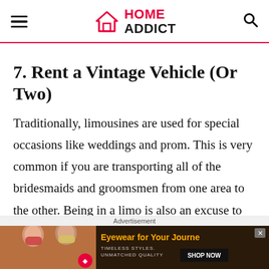HOME ADDICT
7. Rent a Vintage Vehicle (Or Two)
Traditionally, limousines are used for special occasions like weddings and prom. This is very common if you are transporting all of the bridesmaids and groomsmen from one area to the other. Being in a limo is also an excuse to drink without worrying about
Advertisement
[Figure (photo): Advertisement banner for eyewear brand showing two women wearing sunglasses with text 'Eyewear for Your Journey', 'TIMELESS STYLES. UNMATCHED QUALITY', and a 'SHOP NOW' button.]